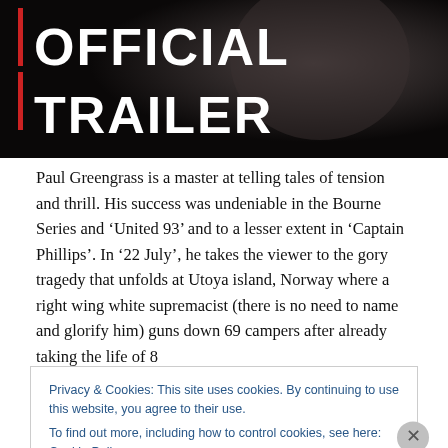[Figure (screenshot): Dark movie trailer thumbnail with bold white text reading 'OFFICIAL TRAILER' on a dark background with a red vertical bar accent on the left]
Paul Greengrass is a master at telling tales of tension and thrill. His success was undeniable in the Bourne Series and ‘United 93’ and to a lesser extent in ‘Captain Phillips’. In ‘22 July’, he takes the viewer to the gory tragedy that unfolds at Utoya island, Norway where a right wing white supremacist (there is no need to name and glorify him) guns down 69 campers after already taking the life of 8
Privacy & Cookies: This site uses cookies. By continuing to use this website, you agree to their use.
To find out more, including how to control cookies, see here: Cookie Policy
Close and accept